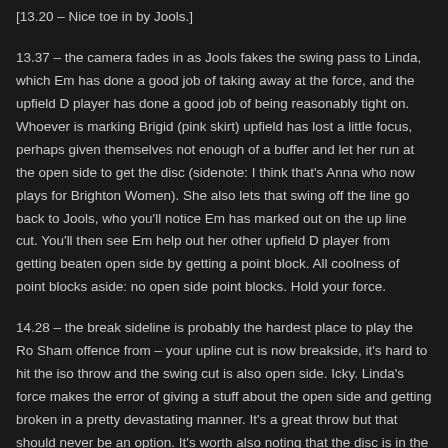[13.20 – Nice toe in by Jools.]
13.37 – the camera fades in as Jools fakes the swing pass to Linda, which Em has done a good job of taking away at the force, and the upfield D player has done a good job of being reasonably tight on. Whoever is marking Brigid (pink skirt) upfield has lost a little focus, perhaps given themselves not enough of a buffer and let her run at the open side to get the disc (sidenote: I think that's Anna who now plays for Brighton Women). She also lets that swing off the line go back to Jools, who you'll notice Em has marked out on the up line cut. You'll then see Em help out her other upfield D player from getting beaten open side by getting a point block. All coolness of point blocks aside: no open side point blocks. Hold your force.
14.28 – the break sideline is probably the hardest place to play the Ro Sham offence from – your upline cut is now breakside, it's hard to hit the iso throw and the swing cut is also open side. Icky. Linda's force makes the error of giving a stuff about the open side and getting broken in a pretty devastating manner. It's a great throw but that should never be an option. It's worth also noting that the disc is in the air for a reasonably long time – if the endzone D